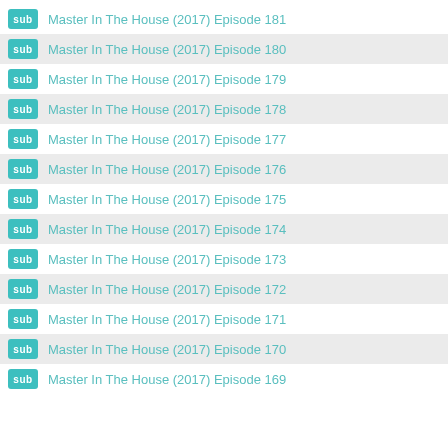sub Master In The House (2017) Episode 181
sub Master In The House (2017) Episode 180
sub Master In The House (2017) Episode 179
sub Master In The House (2017) Episode 178
sub Master In The House (2017) Episode 177
sub Master In The House (2017) Episode 176
sub Master In The House (2017) Episode 175
sub Master In The House (2017) Episode 174
sub Master In The House (2017) Episode 173
sub Master In The House (2017) Episode 172
sub Master In The House (2017) Episode 171
sub Master In The House (2017) Episode 170
sub Master In The House (2017) Episode 169